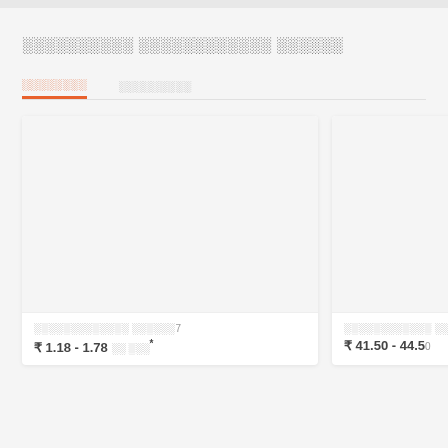░░░░░░░░░░ ░░░░░░░░░░░░ ░░░░░░
░░░░░░░░   ░░░░░░░░░
[Figure (photo): Product card image placeholder left - blank gray rectangle]
░░░░░░░░░░░░░ ░░░░░░7
₹ 1.18 - 1.78 ░░ ░░░*
[Figure (photo): Product card image placeholder right - blank gray rectangle]
░░░░░░░░░░░░ ░░░░░1
₹ 41.50 - 44.50